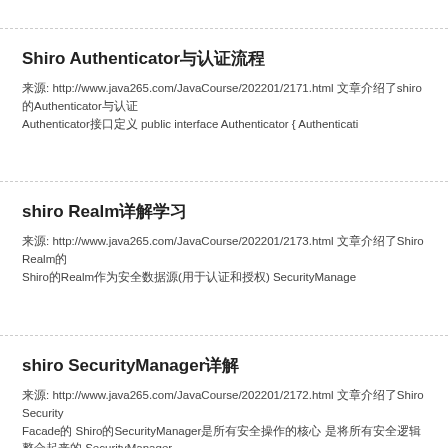Shiro Authenticator与认证流程
来源: http://www.java265.com/JavaCourse/202201/2171.html 文章介绍了shiro的Authenticator与认证流程 Authenticator接口定义 public interface Authenticator { Authenticati
shiro Realm详解学习
来源: http://www.java265.com/JavaCourse/202201/2173.html 文章介绍了Shiro Realm的 Shiro的Realm作为安全数据源(用于认证和授权) SecurityManage
shiro SecurityManager详解
来源: http://www.java265.com/JavaCourse/202201/2172.html 文章介绍了Shiro SecurityManager Facade的 Shiro的SecurityManager是所有安全操作的核心 是将所有安全逻辑整合起来的 SecurityManager